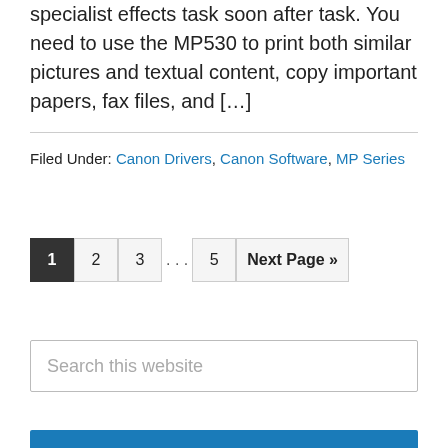specialist effects task soon after task. You need to use the MP530 to print both similar pictures and textual content, copy important papers, fax files, and [...]
Filed Under: Canon Drivers, Canon Software, MP Series
Pagination: 1 (current), 2, 3, ..., 5, Next Page »
Search this website